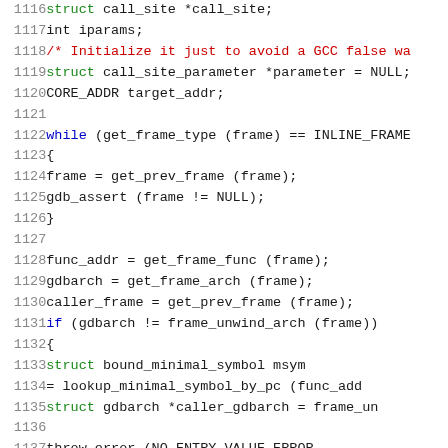[Figure (screenshot): Source code listing showing C code lines 1116-1137, with line numbers in gray on the left, keywords in blue, comments in red, and type names in green, on white background.]